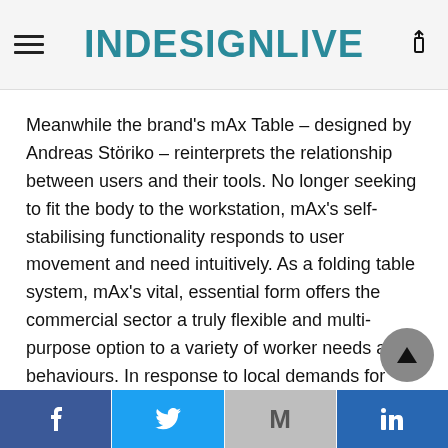INDESIGNLIVE
Meanwhile the brand’s mAx Table – designed by Andreas Störiko – reinterprets the relationship between users and their tools. No longer seeking to fit the body to the workstation, mAx’s self-stabilising functionality responds to user movement and need intuitively. As a folding table system, mAx’s vital, essential form offers the commercial sector a truly flexible and multi-purpose option to a variety of worker needs and behaviours. In response to local demands for more amenable furniture to break out zones, end of trip facilities and impromptu collaboration hubs, mAx’s T-shaped foot section ensures sturdiness and durability across a mix of applications. When coupled with mAx’s variety of table depths and forms, the system
Facebook | Twitter | Gmail | LinkedIn